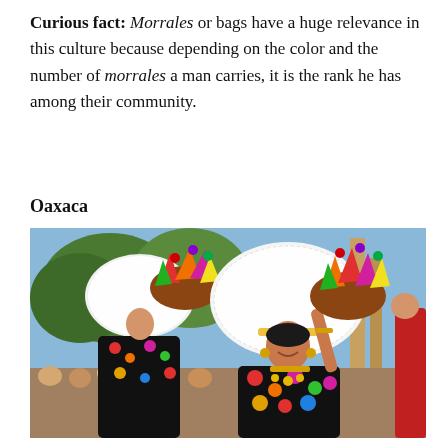Curious fact: Morrales or bags have a huge relevance in this culture because depending on the color and the number of morrales a man carries, it is the rank he has among their community.
Oaxaca
[Figure (photo): Women in traditional Oaxacan attire — black dresses with colorful embroidered flowers, large white lace headdresses, and gold jewelry — carrying decorative baskets filled with colorful paper flowers and ornaments during a cultural festival. A crowd is visible in the background.]